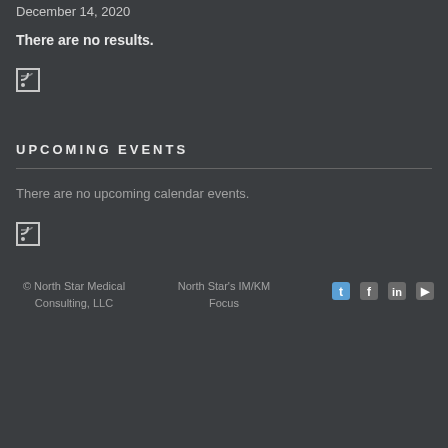December 14, 2020
There are no results.
[Figure (other): RSS feed icon - square with RSS symbol]
UPCOMING EVENTS
There are no upcoming calendar events.
[Figure (other): RSS feed icon - square with RSS symbol]
© North Star Medical Consulting, LLC | North Star's IM/KM Focus | Social icons: Twitter, Facebook, LinkedIn, YouTube